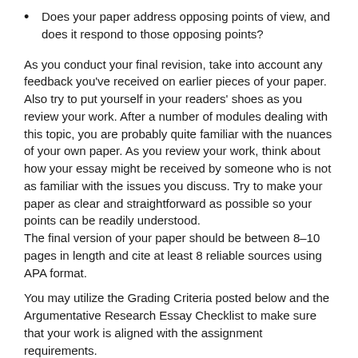Does your paper address opposing points of view, and does it respond to those opposing points?
As you conduct your final revision, take into account any feedback you've received on earlier pieces of your paper. Also try to put yourself in your readers' shoes as you review your work. After a number of modules dealing with this topic, you are probably quite familiar with the nuances of your own paper. As you review your work, think about how your essay might be received by someone who is not as familiar with the issues you discuss. Try to make your paper as clear and straightforward as possible so your points can be readily understood.
The final version of your paper should be between 8–10 pages in length and cite at least 8 reliable sources using APA format.
You may utilize the Grading Criteria posted below and the Argumentative Research Essay Checklist to make sure that your work is aligned with the assignment requirements.